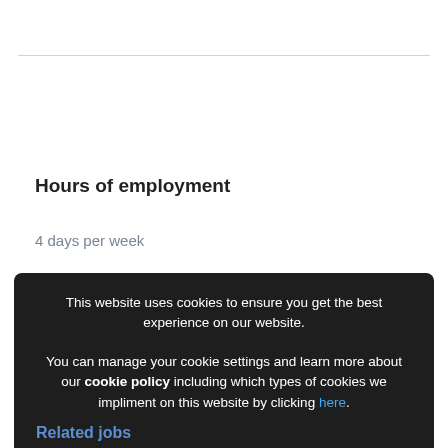Hours of employment
4 days per week
This website uses cookies to ensure you get the best experience on our website.
You can manage your cookie settings and learn more about our cookie policy including which types of cookies we impliment on this website by clicking here.
Grant Cookie Consent
Related jobs